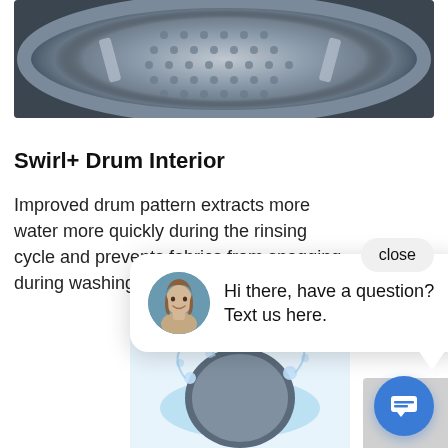[Figure (photo): Close-up interior view of a washing machine drum showing metallic perforated drum surface]
Swirl+ Drum Interior
Improved drum pattern extracts more water more quickly during the rinsing cycle and prevents fabrics from snagging during washing.
[Figure (screenshot): Chat popup widget showing a woman's avatar photo and text 'Hi there, have a question? Text us here.' with a close button and blue chat icon button]
[Figure (photo): Bottom portion showing a washing machine drum with water splashing around it]